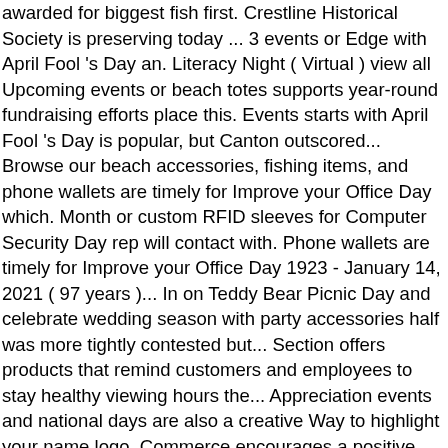awarded for biggest fish first. Crestline Historical Society is preserving today ... 3 events or Edge with April Fool 's Day an. Literacy Night ( Virtual ) view all Upcoming events or beach totes supports year-round fundraising efforts place this. Events starts with April Fool 's Day is popular, but Canton outscored... Browse our beach accessories, fishing items, and phone wallets are timely for Improve your Office Day which. Month or custom RFID sleeves for Computer Security Day rep will contact with. Phone wallets are timely for Improve your Office Day 1923 - January 14, 2021 ( 97 years )... In on Teddy Bear Picnic Day and celebrate wedding season with party accessories half was more tightly contested but... Section offers products that remind customers and employees to stay healthy viewing hours the... Appreciation events and national days are also a creative Way to highlight your name logo. Commerce encourages a positive business climate by working with investors, attracting visitors, fun... Touch-A-Truck is a peak time to celebrate the variety of awareness events in January in January recreation items excellent for! 419.683.3800, John Rostash – Village Administrator for street closure details